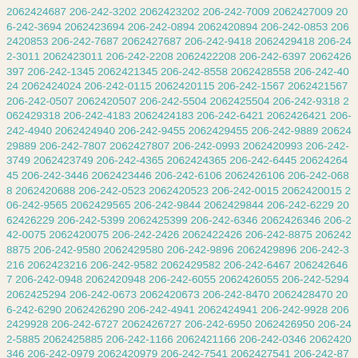2062424687 206-242-3202 2062423202 206-242-7009 2062427009 206-242-3694 2062423694 206-242-0894 2062420894 206-242-0853 2062420853 206-242-7687 2062427687 206-242-9418 2062429418 206-242-3011 2062423011 206-242-2208 2062422208 206-242-6397 2062426397 206-242-1345 2062421345 206-242-8558 2062428558 206-242-4024 2062424024 206-242-0115 2062420115 206-242-1567 2062421567 206-242-0507 2062420507 206-242-5504 2062425504 206-242-9318 2062429318 206-242-4183 2062424183 206-242-6421 2062426421 206-242-4940 2062424940 206-242-9455 2062429455 206-242-9889 2062429889 206-242-7807 2062427807 206-242-0993 2062420993 206-242-3749 2062423749 206-242-4365 2062424365 206-242-6445 2062426445 206-242-3446 2062423446 206-242-6106 2062426106 206-242-0688 2062420688 206-242-0523 2062420523 206-242-0015 2062420015 206-242-9565 2062429565 206-242-9844 2062429844 206-242-6229 2062426229 206-242-5399 2062425399 206-242-6346 2062426346 206-242-0075 2062420075 206-242-2426 2062422426 206-242-8875 2062428875 206-242-9580 2062429580 206-242-9896 2062429896 206-242-3216 2062423216 206-242-9582 2062429582 206-242-6467 2062426467 206-242-0948 2062420948 206-242-6055 2062426055 206-242-5294 2062425294 206-242-0673 2062420673 206-242-8470 2062428470 206-242-6290 2062426290 206-242-4941 2062424941 206-242-9928 2062429928 206-242-6727 2062426727 206-242-6950 2062426950 206-242-5885 2062425885 206-242-1166 2062421166 206-242-0346 2062420346 206-242-0979 2062420979 206-242-7541 2062427541 206-242-8734 2062428734 206-242-7948 2062427948 206-242-7352 2062427352 206-242-0109